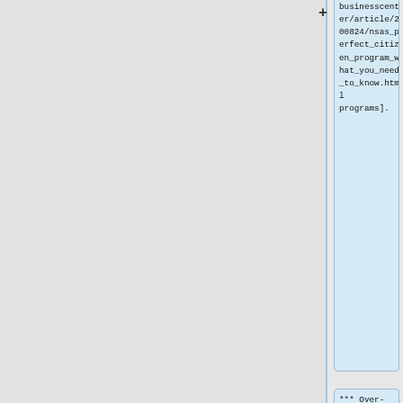businesscenter/article/200824/nsas_perfect_citizen_program_what_you_need_to_know.html programs].
*** Over-broad set of responsibilities may result in an unwieldy
** Over-centralization: Some cyber crimes may be small-scale